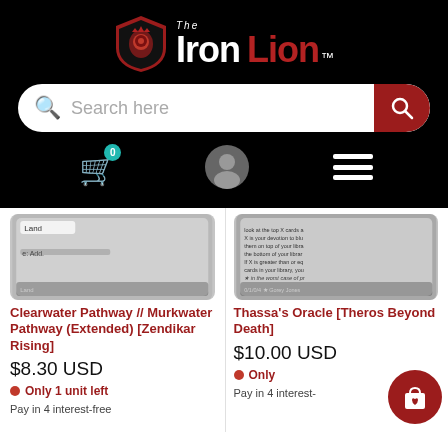[Figure (logo): The Iron Lion logo with shield emblem, white and red text on black background]
[Figure (screenshot): Search bar with 'Search here' placeholder and red search button]
[Figure (screenshot): Navigation icon row: shopping cart with badge 0, user profile icon, hamburger menu]
[Figure (photo): Clearwater Pathway // Murkwater Pathway card image (gray/blue Magic card)]
Clearwater Pathway // Murkwater Pathway (Extended) [Zendikar Rising]
$8.30 USD
Only 1 unit left
Pay in 4 interest-free
[Figure (photo): Thassa's Oracle card image (gray Magic card)]
Thassa's Oracle [Theros Beyond Death]
$10.00 USD
Only
Pay in 4 interest-